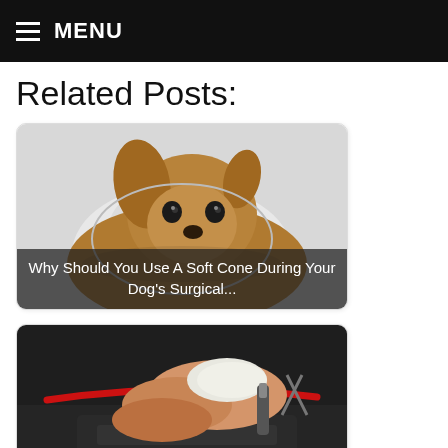MENU
Related Posts:
[Figure (photo): Dog wearing a soft cone/e-collar looking at camera]
Why Should You Use A Soft Cone During Your Dog's Surgical...
[Figure (photo): Close-up of dog knee surgery with medical instruments and red tourniquet]
Dog Knee Surgery Success Rates: TPLO, Tightrope, TTA, and...
[Figure (photo): Third related post image, partially visible, appears to show green vegetation]